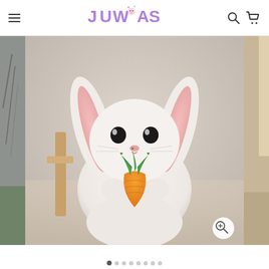JUWAS — navigation header with hamburger menu, logo, search and cart icons
[Figure (photo): A white plush bunny toy with long floppy ears and black eyes, holding an orange and green carrot plush, seated on a beige chair. Partial side images visible on left and right edges. Zoom button in bottom-right corner of image area.]
[Figure (other): Dot navigation carousel indicator with 8 dots, first dot active/filled dark, rest light gray]